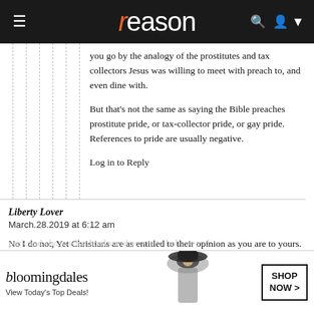reason
you go by the analogy of the prostitutes and tax collectors Jesus was willing to meet with preach to, and even dine with.

But that's not the same as saying the Bible preaches prostitute pride, or tax-collector pride, or gay pride. References to pride are usually negative.
Log in to Reply
Liberty Lover
March.28.2019 at 6:12 am
No I do not, Yet Christians are as entitled to their opinion as you are to yours. If you truly believe, then you believe. I have no problem with people having the courage of their convictions. Homosexuals have the same courage of their convictions. According to your way of thinking homosexuals should hate themselves, so not to offend others. Now substitute Christians for homosexuals in that sentence. You will never get. Christians to pack and chose what books and verses to believe and
[Figure (screenshot): Bloomingdale's advertisement overlay: logo, 'View Today's Top Deals!' tagline, woman in hat photo, SHOP NOW button]